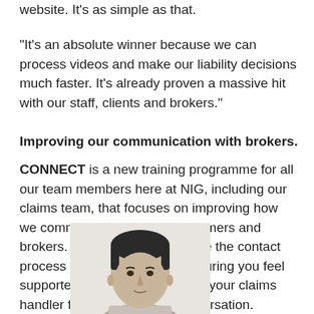website. It's as simple as that.
“It’s an absolute winner because we can process videos and make our liability decisions much faster. It’s already proven a massive hit with our staff, clients and brokers.”
Improving our communication with brokers.
CONNECT is a new training programme for all our team members here at NIG, including our claims team, that focuses on improving how we communicate with our customers and brokers. It’s designed to improve the contact process from start to finish, ensuring you feel supported and well-informed by your claims handler from the very first conversation.
[Figure (photo): Black and white headshot photo of a man, cropped from the shoulders up, with short hair.]